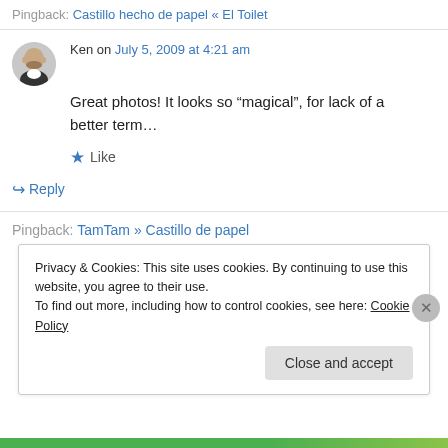Pingback: Castillo hecho de papel « El Toilet
Ken on July 5, 2009 at 4:21 am
[Figure (photo): Avatar of user Ken, a bald man with beard wearing a dark jacket]
Great photos! It looks so “magical”, for lack of a better term…
Like
Reply
Pingback: TamTam » Castillo de papel
Privacy & Cookies: This site uses cookies. By continuing to use this website, you agree to their use.
To find out more, including how to control cookies, see here: Cookie Policy
Close and accept